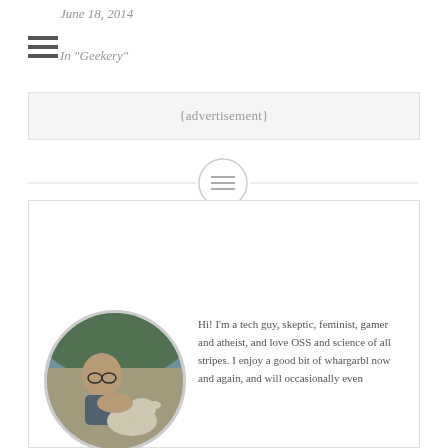press coffee
June 18, 2014
In "Geekery"
{advertisement}
[Figure (other): Circular icon with horizontal lines (menu/list icon) used as a section divider]
ABOUT THE AUTHOR
[Figure (photo): Circular cropped photo of a person leaning in close to a goat or dog outdoors]
Hi! I'm a tech guy, skeptic, feminist, gamer and atheist, and love OSS and science of all stripes. I enjoy a good bit of whargarbl now and again, and will occasionally even